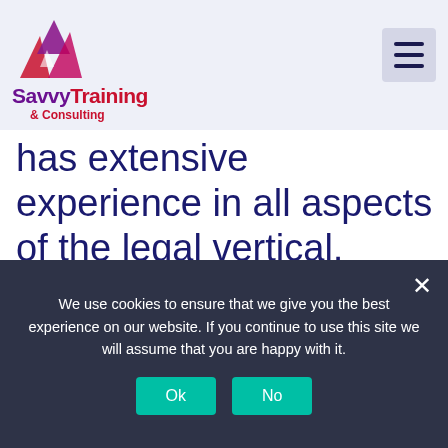Savvy Training & Consulting — navigation header with logo and hamburger menu
has extensive experience in all aspects of the legal vertical, including finance, human resources, facilities, operations and marketing. Doug earned an MBA from the University of Colorado at
We use cookies to ensure that we give you the best experience on our website. If you continue to use this site we will assume that you are happy with it.